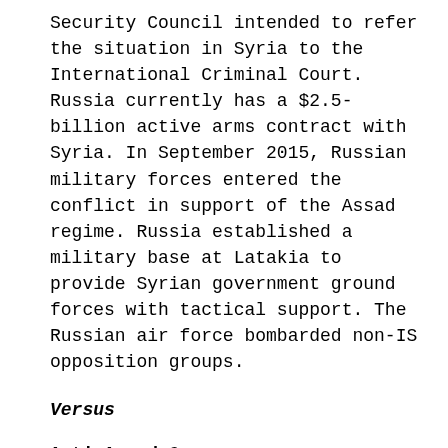Security Council intended to refer the situation in Syria to the International Criminal Court. Russia currently has a $2.5-billion active arms contract with Syria. In September 2015, Russian military forces entered the conflict in support of the Assad regime. Russia established a military base at Latakia to provide Syrian government ground forces with tactical support. The Russian air force bombarded non-IS opposition groups.
Versus
Anti-Assad Groups
8. Free Syrian Army (FSA): This army